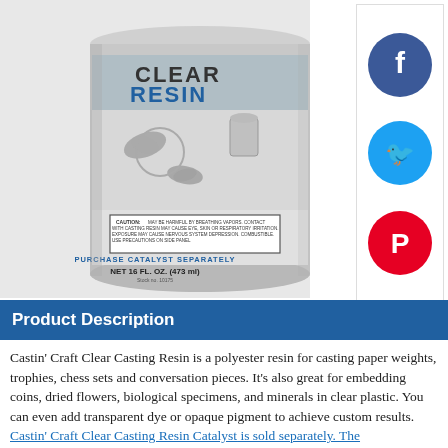[Figure (photo): Product can of Castin' Craft Clear Casting Resin, 16 fl oz (473 ml), showing butterflies, paperweights, and glass items on the label with caution text and blue text reading PURCHASE CATALYST SEPARATELY]
[Figure (illustration): Facebook, Twitter, and Pinterest social media icons (circles with white logos) on white background with border]
Product Description
Castin’ Craft Clear Casting Resin is a polyester resin for casting paper weights, trophies, chess sets and conversation pieces. It’s also great for embedding coins, dried flowers, biological specimens, and minerals in clear plastic. You can even add transparent dye or opaque pigment to achieve custom results.
Castin’ Craft Clear Casting Resin Catalyst is sold separately. The